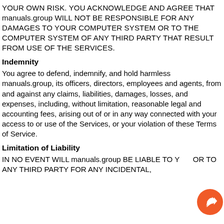YOUR OWN RISK. YOU ACKNOWLEDGE AND AGREE THAT manuals.group WILL NOT BE RESPONSIBLE FOR ANY DAMAGES TO YOUR COMPUTER SYSTEM OR TO THE COMPUTER SYSTEM OF ANY THIRD PARTY THAT RESULT FROM USE OF THE SERVICES.
Indemnity
You agree to defend, indemnify, and hold harmless manuals.group, its officers, directors, employees and agents, from and against any claims, liabilities, damages, losses, and expenses, including, without limitation, reasonable legal and accounting fees, arising out of or in any way connected with your access to or use of the Services, or your violation of these Terms of Service.
Limitation of Liability
IN NO EVENT WILL manuals.group BE LIABLE TO YOU OR TO ANY THIRD PARTY FOR ANY INCIDENTAL,